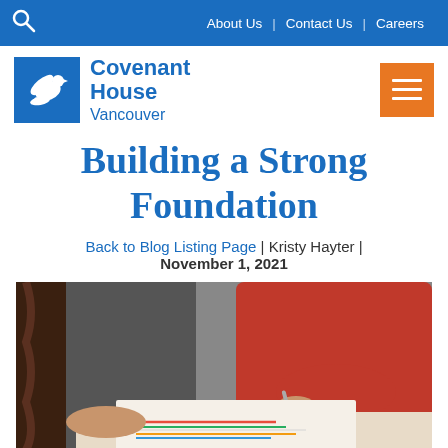About Us | Contact Us | Careers
[Figure (logo): Covenant House Vancouver logo with blue dove icon and text]
Building a Strong Foundation
Back to Blog Listing Page | Kristy Hayter | November 1, 2021
[Figure (photo): Person in red hoodie writing on paper with charts/lines, another person's hands visible nearby]